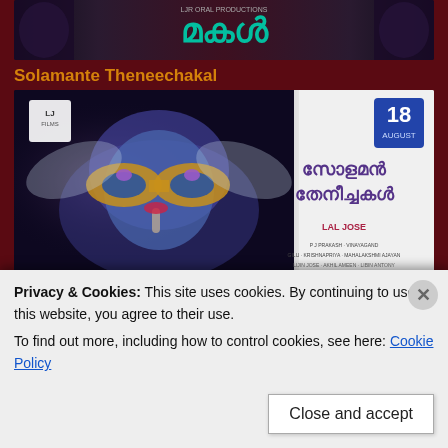[Figure (photo): Movie poster for a Malayalam film showing stylized title text in teal/cyan color against a dark background with shadowy figures on the sides]
Solamante Theneechakal
[Figure (photo): Movie poster for Solamante Theneechakal directed by Lal Jose, showing a blue-skinned figure with a masquerade mask, with Malayalam title text on the right side and release date 18 August]
Sweet and Sour
[Figure (photo): Movie still from Sweet and Sour showing three people at night with bokeh lights in background]
Privacy & Cookies: This site uses cookies. By continuing to use this website, you agree to their use.
To find out more, including how to control cookies, see here: Cookie Policy